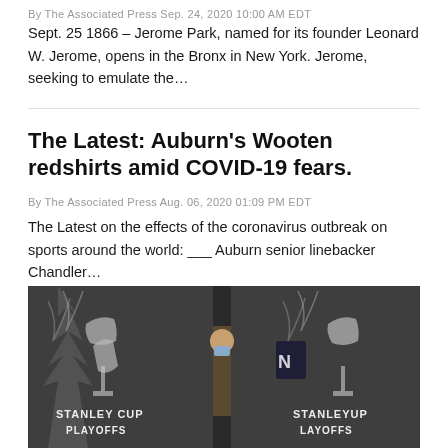By The Associated Press Sep. 24, 2020 10:00 AM EDT
Sept. 25 1866 – Jerome Park, named for its founder Leonard W. Jerome, opens in the Bronx in New York. Jerome, seeking to emulate the…
The Latest: Auburn's Wooten redshirts amid COVID-19 fears.
By The Associated Press Aug. 06, 2020 01:09 PM EDT
The Latest on the effects of the coronavirus outbreak on sports around the world: ___ Auburn senior linebacker Chandler…
[Figure (photo): Stanley Cup Playoffs branded backdrop/curtain with a person wearing a mask visible between panels. Text reads STANLEY CUP PLAYOFFS repeated on dark banner.]